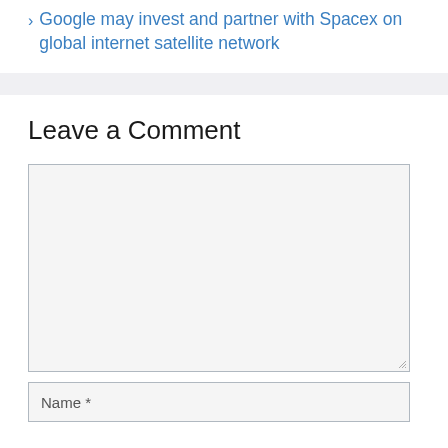Google may invest and partner with Spacex on global internet satellite network
Leave a Comment
[Figure (other): Comment text area input box (empty), followed by a Name input field with asterisk label]
Name *